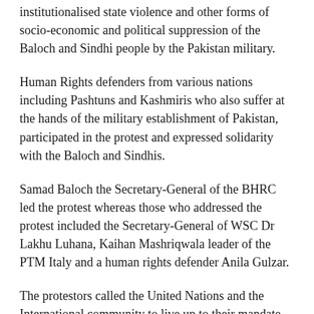institutionalised state violence and other forms of socio-economic and political suppression of the Baloch and Sindhi people by the Pakistan military.
Human Rights defenders from various nations including Pashtuns and Kashmiris who also suffer at the hands of the military establishment of Pakistan, participated in the protest and expressed solidarity with the Baloch and Sindhis.
Samad Baloch the Secretary-General of the BHRC led the protest whereas those who addressed the protest included the Secretary-General of WSC Dr Lakhu Luhana, Kaihan Mashriqwala leader of the PTM Italy and a human rights defender Anila Gulzar.
The protestors called the United Nations and the International community to live up to their mandate